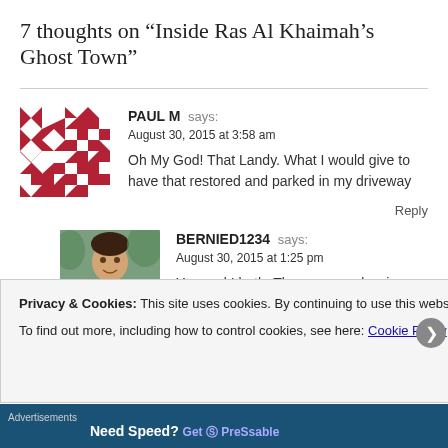7 thoughts on “Inside Ras Al Khaimah’s Ghost Town”
PAUL M says:
August 30, 2015 at 3:58 am
Oh My God! That Landy. What I would give to have that restored and parked in my driveway
Reply
BERNIED1234 says:
August 30, 2015 at 1:25 pm
You and I both. There was a classic car show here in Dubai a few months ago, and some of the Emirati folks have the most beautiful restored land rovers, jeeps, etc. I’ve ever seen. – Bernie
Privacy & Cookies: This site uses cookies. By continuing to use this website, you agree to their use.
To find out more, including how to control cookies, see here: Cookie Policy
Close and accept
Advertisements
Need Speed?
Get Ⓒ PreSsable